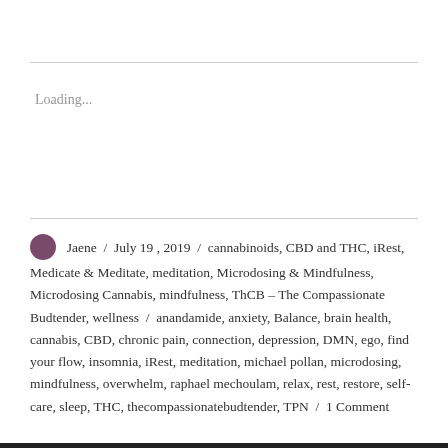Loading...
Jaene / July 19, 2019 / cannabinoids, CBD and THC, iRest, Medicate & Meditate, meditation, Microdosing & Mindfulness, Microdosing Cannabis, mindfulness, ThCB - The Compassionate Budtender, wellness / anandamide, anxiety, Balance, brain health, cannabis, CBD, chronic pain, connection, depression, DMN, ego, find your flow, insomnia, iRest, meditation, michael pollan, microdosing, mindfulness, overwhelm, raphael mechoulam, relax, rest, restore, self-care, sleep, THC, thecompassionatebudtender, TPN / 1 Comment